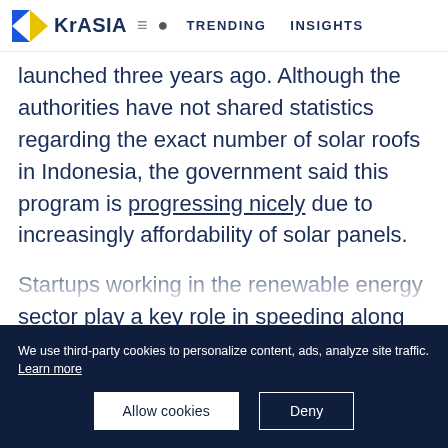KrASIA = [search] TRENDING   INSIGHTS
launched three years ago. Although the authorities have not shared statistics regarding the exact number of solar roofs in Indonesia, the government said this program is progressing nicely due to increasingly affordability of solar panels.
Startups working in the renewable energy sector play a key role in speeding along the adoption of renewable energy in
We use third-party cookies to personalize content, ads, analyze site traffic. Learn more
Allow cookies   Deny